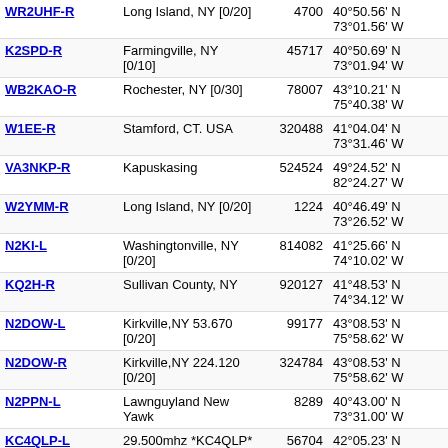| Call | Location | Num | Coordinates | Grid | Dist |  |
| --- | --- | --- | --- | --- | --- | --- |
| WR2UHF-R | Long Island, NY [0/20] | 4700 | 40°50.56' N 73°01.56' W | FN30lu | 3335.9 |  |
| K2SPD-R | Farmingville, NY [0/10] | 45717 | 40°50.69' N 73°01.94' W | FN30lu | 3336.1 | 145. |
| WB2KAO-R | Rochester, NY [0/30] | 78007 | 43°10.21' N 75°40.38' W | FN23de | 3346.5 |  |
| W1EE-R | Stamford, CT. USA | 320488 | 41°04.04' N 73°31.46' W | FN31fb | 3347.0 | 146. |
| VA3NKP-R | Kapuskasing | 524524 | 49°24.52' N 82°24.27' W | EN89tj | 3355.0 | 146. |
| W2YMM-R | Long Island, NY [0/20] | 1224 | 40°46.49' N 73°26.52' W | FN30gs | 3356.0 | 449. |
| N2KI-L | Washingtonville, NY [0/20] | 814082 | 41°25.66' N 74°10.02' W | FN21vk | 3358.2 | 446. |
| KQ2H-R | Sullivan County, NY | 920127 | 41°48.53' N 74°34.12' W | FN21rt | 3358.5 | 147. |
| N2DOW-L | Kirkville,NY 53.670 [0/20] | 99177 | 43°08.53' N 75°58.62' W | FN23ad | 3359.9 |  |
| N2DOW-R | Kirkville,NY 224.120 [0/20] | 324784 | 43°08.53' N 75°58.62' W | FN23ad | 3359.9 |  |
| N2PPN-L | Lawnguyland New Yawk | 8289 | 40°43.00' N 73°31.00' W | FN30fr | 3361.5 | 223. |
| KC4QLP-L | 29.500mhz *KC4QLP* | 56704 | 42°05.23' N 74°59.71' W | FN22mc | 3364.2 | 29. |
| N2YGI-R | Westchester, N.Y. | 494571 | 40°54.00' N 73°47.00' W | FN30cv | 3364.7 | 145. |
| KC2WXJ-L | Goshen, NY | 650698 | 41°24.36' N | FN21ti | 3365.9 | 448. |